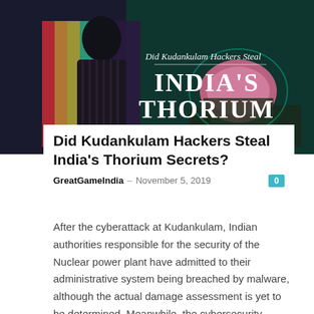[Figure (illustration): Hero image for article: dark composite image with a person in foreground and a nuclear power plant dome (pink/teal) in background. Overlaid text reads 'Did Kudankulam Hackers Steal' in italic and 'INDIA'S THORIUM SECRETS' in large white serif caps.]
Did Kudankulam Hackers Steal India's Thorium Secrets?
GreatGameIndia – November 5, 2019
After the cyberattack at Kudankulam, Indian authorities responsible for the security of the Nuclear power plant have admitted to their administrative system being breached by malware, although the actual damage assessment is yet to be determined. Meanwhile, the cybersecurity…